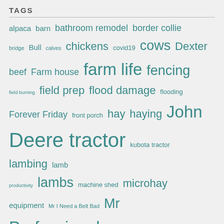TAGS
alpaca barn bathroom remodel border collie bridge Bull calves chickens covid19 cows Dexter beef Farm house farm life fencing field burning field prep flood damage flooding Forever Friday front porch hay haying John Deere tractor kubota tractor lambing lamb productivity lambs machine shed microhay equipment Mr I Need a Belt Bad Mr Professional Mr Rainman Mr Tex New office Planting predators quail racoons ram remodel Sheep spring tractor